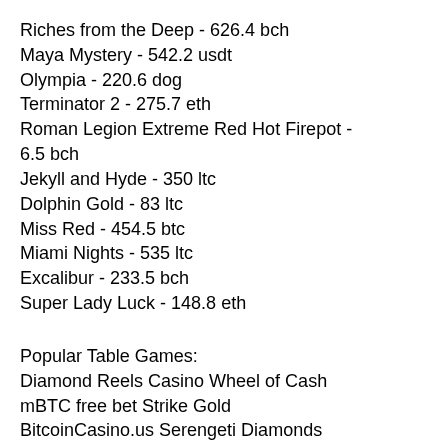Riches from the Deep - 626.4 bch
Maya Mystery - 542.2 usdt
Olympia - 220.6 dog
Terminator 2 - 275.7 eth
Roman Legion Extreme Red Hot Firepot - 6.5 bch
Jekyll and Hyde - 350 ltc
Dolphin Gold - 83 ltc
Miss Red - 454.5 btc
Miami Nights - 535 ltc
Excalibur - 233.5 bch
Super Lady Luck - 148.8 eth
Popular Table Games:
Diamond Reels Casino Wheel of Cash
mBTC free bet Strike Gold
BitcoinCasino.us Serengeti Diamonds
1xSlots Casino For Love and Money
https://www.dropkicks-